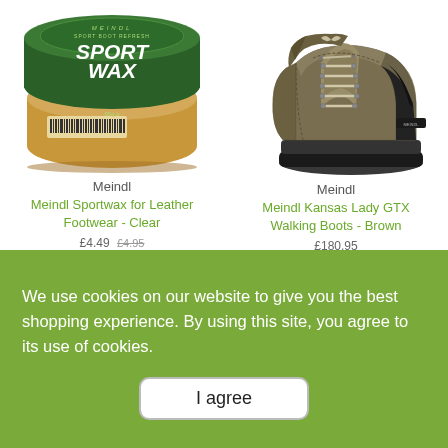[Figure (photo): Meindl Sport Wax tin with green lid and gold body, showing SPORT WAX branding]
[Figure (photo): Meindl Kansas Lady GTX Walking Boot in brown leather with black sole and laces]
Meindl
Meindl Sportwax for Leather Footwear - Clear
£4.49 £4.95
Meindl
Meindl Kansas Lady GTX Walking Boots - Brown
£180.95
We use cookies on our website to give you the best shopping experience. By using this site, you agree to its use of cookies.
I agree